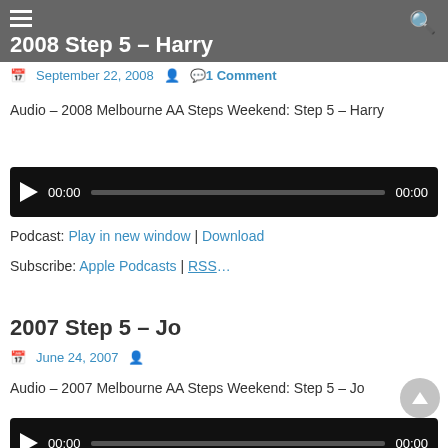2008 Step 5 – Harry
2008 Step 5 – Harry
September 22, 2008   1 Comment
Audio – 2008 Melbourne AA Steps Weekend: Step 5 – Harry
[Figure (other): Audio player with play button, 00:00 time, progress bar, 00:00 duration]
Podcast: Play in new window | Download
Subscribe: Apple Podcasts | RSS…
2007 Step 5 – Jo
June 24, 2007
Audio – 2007 Melbourne AA Steps Weekend: Step 5 – Jo
[Figure (other): Audio player with play button, 00:00 time, progress bar, 00:00 duration]
Podcast: Play in new window | Download